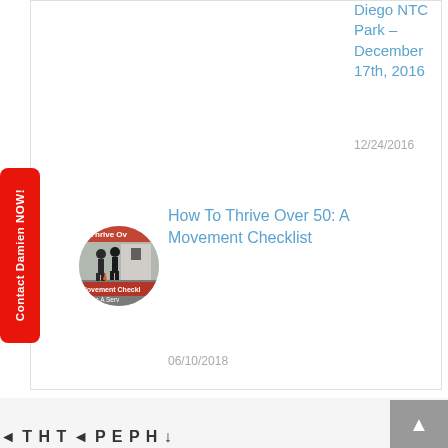Diego NTC Park – December 17th, 2016
12/24/2016
Contact Damien NOW!
[Figure (photo): Circular thumbnail image showing two people exercising outdoors, with text 'o Thrive Over' and 'Movement Checklé' overlaid, labeled 'amien A Serv']
How To Thrive Over 50: A Movement Checklist
06/10/2018
[Figure (other): Gray scroll-to-top button with upward arrow]